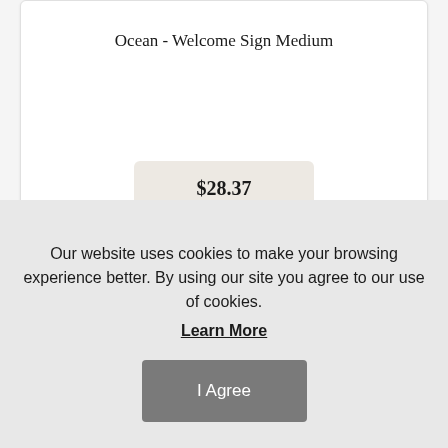Ocean - Welcome Sign Medium
$28.37
[Figure (illustration): Circular decorative metal sign with mountain landscape and stylized text/script lettering, shown in black]
Our website uses cookies to make your browsing experience better. By using our site you agree to our use of cookies.
Learn More
I Agree